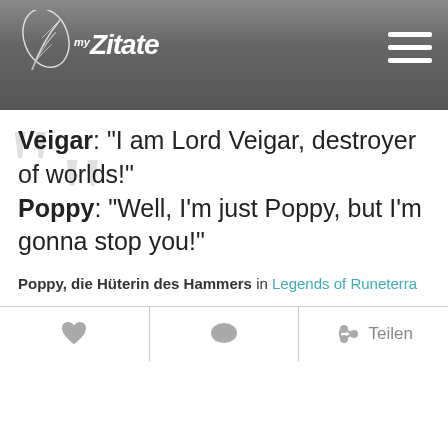myZitate
Veigar: "I am Lord Veigar, destroyer of worlds!" Poppy: "Well, I'm just Poppy, but I'm gonna stop you!"
Poppy, die Hüterin des Hammers in Legends of Runeterra